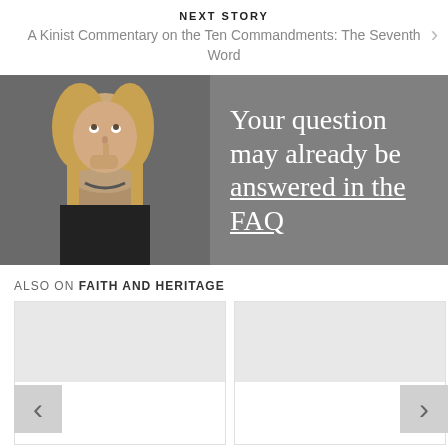NEXT STORY
A Kinist Commentary on the Ten Commandments: The Seventh Word
[Figure (photo): Banner image showing a woman with blonde hair looking upward thoughtfully, with text overlay reading 'Your question may already be answered in the FAQ']
ALSO ON FAITH AND HERITAGE
[Figure (screenshot): Two content cards from the Faith and Heritage website, each with a gray image placeholder area and a white text body area, with left and right navigation arrows]
[Figure (screenshot): Second content card placeholder]